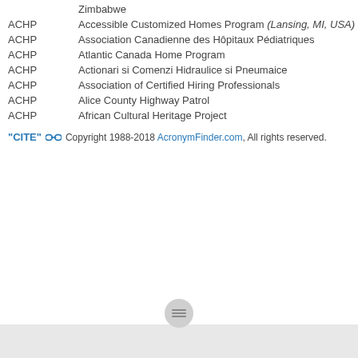Zimbabwe
ACHP — Accessible Customized Homes Program (Lansing, MI, USA)
ACHP — Association Canadienne des Hôpitaux Pédiatriques
ACHP — Atlantic Canada Home Program
ACHP — Actionari si Comenzi Hidraulice si Pneumaice
ACHP — Association of Certified Hiring Professionals
ACHP — Alice County Highway Patrol
ACHP — African Cultural Heritage Project
"CITE" Copyright 1988-2018 AcronymFinder.com, All rights reserved.